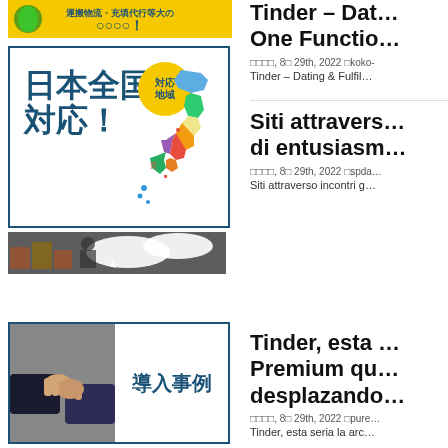[Figure (illustration): Yellow background banner with Japanese text and logistic imagery at top left]
[Figure (illustration): Japan national coverage map with 日本全国対応！ text, yellow circle with 対応地域, and colorful Japan map]
[Figure (photo): Warehouse interior photo with manga-style speech bubbles]
Tinder – Dat… One Functio…
□□□□, 8□ 29th, 2022 □koko-
Tinder – Dating & Fulfil…
Siti attravers… di entusiasm…
□□□□, 8□ 29th, 2022 □spda…
Siti attraverso incontri g…
[Figure (photo): Handshake photo with 導入事例 (case studies) label in blue]
Tinder, esta … Premium qu… desplazando…
□□□□, 8□ 29th, 2022 □pure…
Tinder, esta seria la arc…